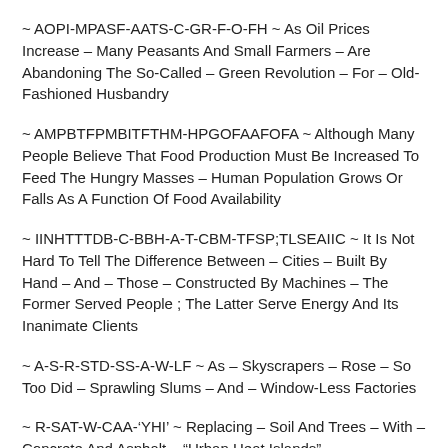~ AOPI-MPASF-AATS-C-GR-F-O-FH ~ As Oil Prices Increase – Many Peasants And Small Farmers – Are Abandoning The So-Called – Green Revolution – For – Old-Fashioned Husbandry
~ AMPBTFPMBITFTHM-HPGOFAAFOFA ~ Although Many People Believe That Food Production Must Be Increased To Feed The Hungry Masses – Human Population Grows Or Falls As A Function Of Food Availability
~ IINHTTTDB-C-BBH-A-T-CBM-TFSP;TLSEAIIC ~ It Is Not Hard To Tell The Difference Between – Cities – Built By Hand – And – Those – Constructed By Machines – The Former Served People ; The Latter Serve Energy And Its Inanimate Clients
~ A-S-R-STD-SS-A-W-LF ~ As – Skyscrapers – Rose – So Too Did – Sprawling Slums – And – Window-Less Factories
~ R-SAT-W-CAA-‘YHI’ ~ Replacing – Soil And Trees – With – Concrete And Asphalt – “Urban Heat Islands”